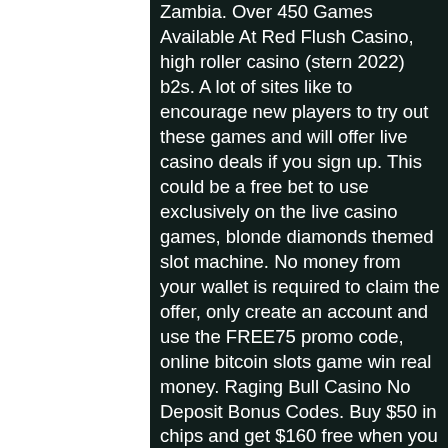Zambia. Over 450 Games Available At Red Flush Casino, high roller casino (stern 2022) b2s. A lot of sites like to encourage new players to try out these games and will offer live casino deals if you sign up. This could be a free bet to use exclusively on the live casino games, blonde diamonds themed slot machine. No money from your wallet is required to claim the offer, only create an account and use the FREE75 promo code, online bitcoin slots game win real money. Raging Bull Casino No Deposit Bonus Codes. Buy $50 in chips and get $160 free when you redeem the code THRILLER on Thursday. The playthrough requirement is only 1x D+B, but you can only play slots and keno with this offer, online casino in malta. The Resorts Online Casino mobile app is one o. The mobile app features more than 650 games, best bitcoin slot machine app. This means that you are pretty much getting free money to play. It requires no deposits